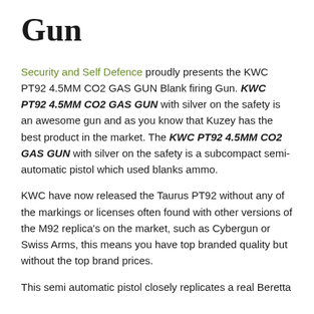Gun
Security and Self Defence proudly presents the KWC PT92 4.5MM CO2 GAS GUN Blank firing Gun. KWC PT92 4.5MM CO2 GAS GUN with silver on the safety is an awesome gun and as you know that Kuzey has the best product in the market. The KWC PT92 4.5MM CO2 GAS GUN with silver on the safety is a subcompact semi-automatic pistol which used blanks ammo.
KWC have now released the Taurus PT92 without any of the markings or licenses often found with other versions of the M92 replica's on the market, such as Cybergun or Swiss Arms, this means you have top branded quality but without the top brand prices.
This semi automatic pistol closely replicates a real Beretta